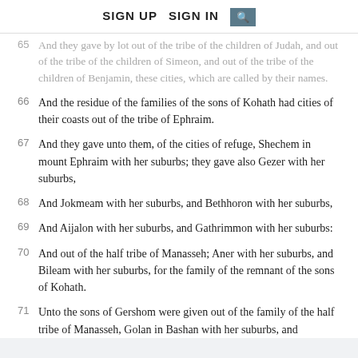SIGN UP   SIGN IN  [search]
65  And they gave by lot out of the tribe of the children of Judah, and out of the tribe of the children of Simeon, and out of the tribe of the children of Benjamin, these cities, which are called by their names.
66  And the residue of the families of the sons of Kohath had cities of their coasts out of the tribe of Ephraim.
67  And they gave unto them, of the cities of refuge, Shechem in mount Ephraim with her suburbs; they gave also Gezer with her suburbs,
68  And Jokmeam with her suburbs, and Bethhoron with her suburbs,
69  And Aijalon with her suburbs, and Gathrimmon with her suburbs:
70  And out of the half tribe of Manasseh; Aner with her suburbs, and Bileam with her suburbs, for the family of the remnant of the sons of Kohath.
71  Unto the sons of Gershom were given out of the family of the half tribe of Manasseh, Golan in Bashan with her suburbs, and